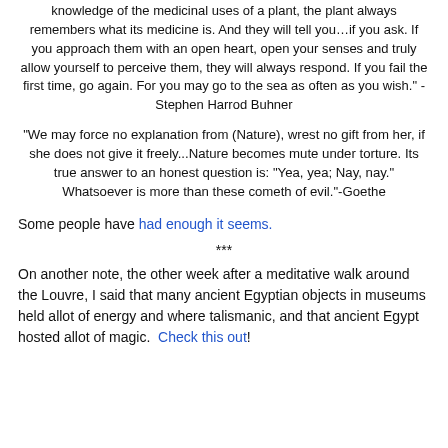knowledge of the medicinal uses of a plant, the plant always remembers what its medicine is. And they will tell you…if you ask. If you approach them with an open heart, open your senses and truly allow yourself to perceive them, they will always respond. If you fail the first time, go again. For you may go to the sea as often as you wish." -Stephen Harrod Buhner
"We may force no explanation from (Nature), wrest no gift from her, if she does not give it freely...Nature becomes mute under torture. Its true answer to an honest question is: "Yea, yea; Nay, nay." Whatsoever is more than these cometh of evil."-Goethe
Some people have had enough it seems.
***
On another note, the other week after a meditative walk around the Louvre, I said that many ancient Egyptian objects in museums held allot of energy and where talismanic, and that ancient Egypt hosted allot of magic. Check this out!